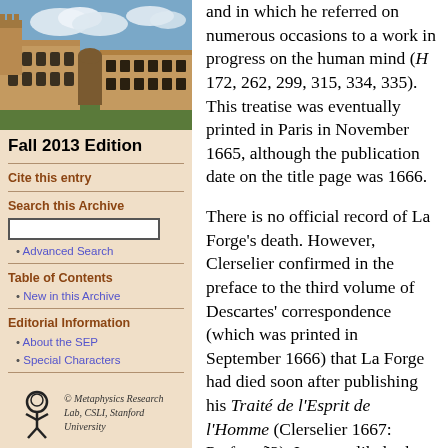[Figure (photo): Aerial or ground-level photo of a university building with Gothic/sandstone architecture under a blue sky with clouds]
Fall 2013 Edition
Cite this entry
Search this Archive
Advanced Search
Table of Contents
New in this Archive
Editorial Information
About the SEP
Special Characters
[Figure (logo): Metaphysics Research Lab logo — stylized figure]
© Metaphysics Research Lab, CSLI, Stanford University
and in which he referred on numerous occasions to a work in progress on the human mind (H 172, 262, 299, 315, 334, 335). This treatise was eventually printed in Paris in November 1665, although the publication date on the title page was 1666.
There is no official record of La Forge's death. However, Clerselier confirmed in the preface to the third volume of Descartes' correspondence (which was printed in September 1666) that La Forge had died soon after publishing his Traité de l'Esprit de l'Homme (Clerselier 1667: Preface ã2). It seems likely that